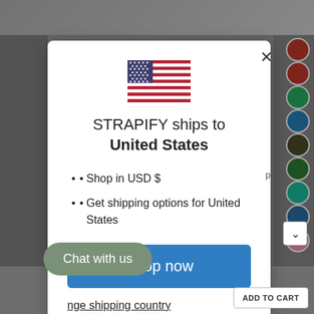[Figure (screenshot): Strapify e-commerce website background showing watch strap products]
[Figure (illustration): US flag SVG icon]
STRAPIFY ships to United States
Shop in USD $
Get shipping options for United States
Shop now
nge shipping country
Chat with us